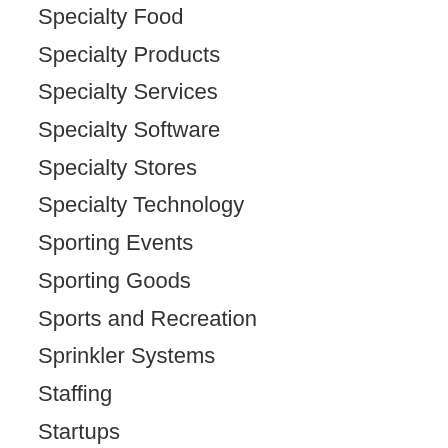Specialty Food
Specialty Products
Specialty Services
Specialty Software
Specialty Stores
Specialty Technology
Sporting Events
Sporting Goods
Sports and Recreation
Sprinkler Systems
Staffing
Startups
Startups - Digital
Stone and Gravel
Storage
Store and Photoni…